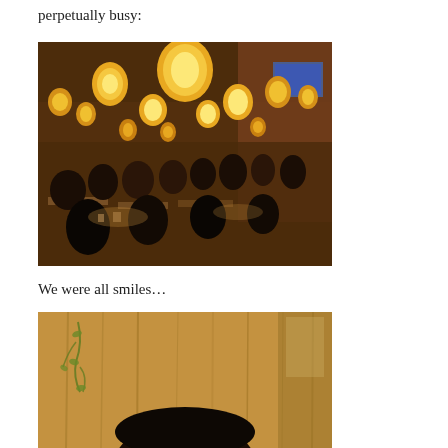perpetually busy:
[Figure (photo): A busy restaurant interior with many diners seated at tables. The ceiling is decorated with numerous round yellow paper lanterns glowing warmly. The walls appear to be exposed brick. A TV screen is visible in the background. The restaurant is crowded with people eating.]
We were all smiles…
[Figure (photo): A partial photo showing the top of a person's head with dark hair against a wooden/bamboo textured background wall with some green plant decoration.]